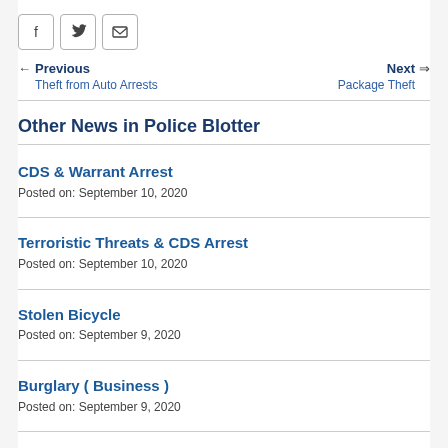[Figure (other): Social sharing icons: Facebook, Twitter, Email]
← Previous  Theft from Auto Arrests    Next →  Package Theft
Other News in Police Blotter
CDS & Warrant Arrest
Posted on: September 10, 2020
Terroristic Threats & CDS Arrest
Posted on: September 10, 2020
Stolen Bicycle
Posted on: September 9, 2020
Burglary ( Business )
Posted on: September 9, 2020
Burglary ( Residential)
Posted on: September 8, 2020